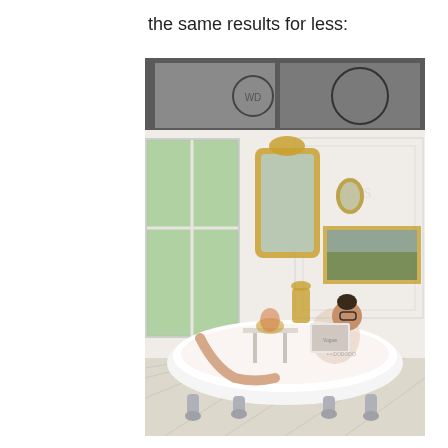the same results for less:
[Figure (photo): A woman relaxing in a white clawfoot bathtub in an elegant, bright bathroom with herringbone wood floors, a large ornate gold-framed mirror on the wall, a small oval mirror, a landscape painting in a gold frame, large white-framed windows with a view of green trees outside, and decorative items on a table nearby. The woman is reading a magazine and wearing glasses.]